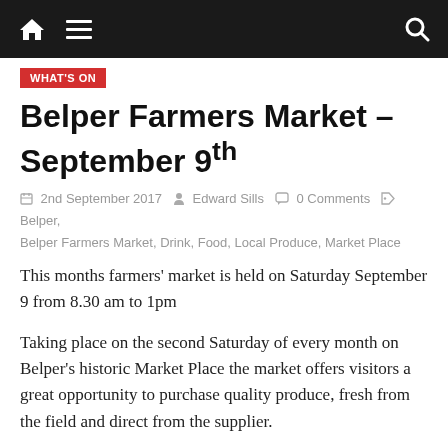Navigation bar with home icon, menu icon, and search icon
WHAT'S ON
Belper Farmers Market – September 9th
2nd September 2017  Edward Sills  0 Comments  Belper, Belper Farmers Market, Drink, Food, Local Produce, Market Place
This months farmers' market is held on Saturday September 9 from 8.30 am to 1pm
Taking place on the second Saturday of every month on Belper's historic Market Place the market offers visitors a great opportunity to purchase quality produce, fresh from the field and direct from the supplier.
Walk around the market and explore No 28 to sample the best food and arts Belper has to offer. From real ale, to